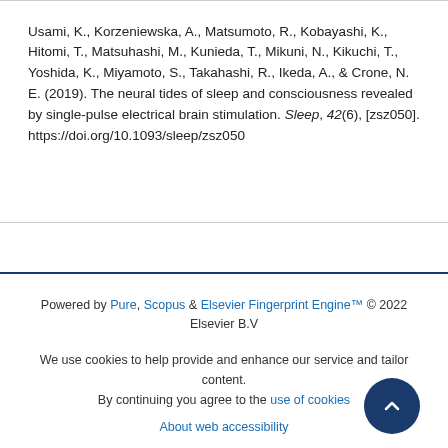Usami, K., Korzeniewska, A., Matsumoto, R., Kobayashi, K., Hitomi, T., Matsuhashi, M., Kunieda, T., Mikuni, N., Kikuchi, T., Yoshida, K., Miyamoto, S., Takahashi, R., Ikeda, A., & Crone, N. E. (2019). The neural tides of sleep and consciousness revealed by single-pulse electrical brain stimulation. Sleep, 42(6), [zsz050]. https://doi.org/10.1093/sleep/zsz050
Powered by Pure, Scopus & Elsevier Fingerprint Engine™ © 2022 Elsevier B.V
We use cookies to help provide and enhance our service and tailor content. By continuing you agree to the use of cookies
About web accessibility